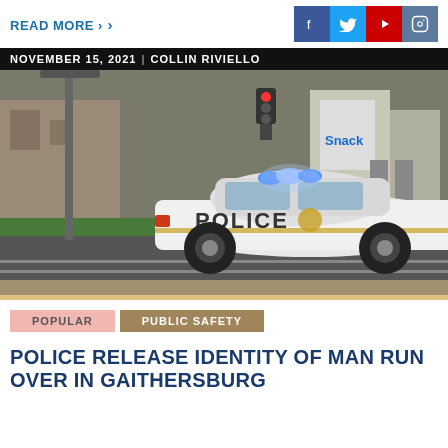READ MORE >
[Figure (photo): White police car with flashing blue lights on a road, with a gas station visible in the background. The car has POLICE written on the side.]
NOVEMBER 15, 2021 | COLLIN RIVIELLO
POPULAR
PUBLIC SAFETY
POLICE RELEASE IDENTITY OF MAN RUN OVER IN GAITHERSBURG